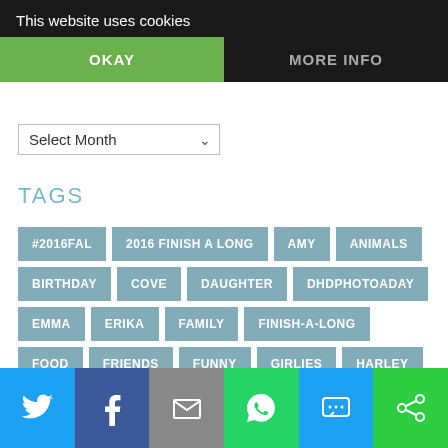This website uses cookies
OKAY
MORE INFO
Select Month
TAGS
#2016FAL
2016 FINISH A LONG
AMY
ANIMALS
BIRTHDAY
COVE
DAUGHTER
DHDPHOTOADAY
EMMA
ERIKA
FAMILY
FINISH-A-LONG
FOOD
FRIENDS
FUNNY
GIRLIES
HARLEY
HEALTH
HOLIDAY
HOME CONSTRUCTION
INSPIRING WORDS